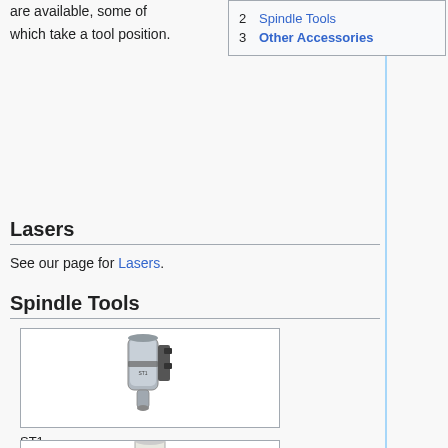are available, some of which take a tool position.
| # | Link |
| --- | --- |
| 2 | Spindle Tools |
| 3 | Other Accessories |
Lasers
See our page for Lasers.
Spindle Tools
[Figure (photo): Photo of ST1 spindle tool - a cylindrical metallic spindle motor with mounting bracket]
ST1
[Figure (photo): Photo of second spindle tool - a white cylindrical spindle motor, partially visible at bottom of page]